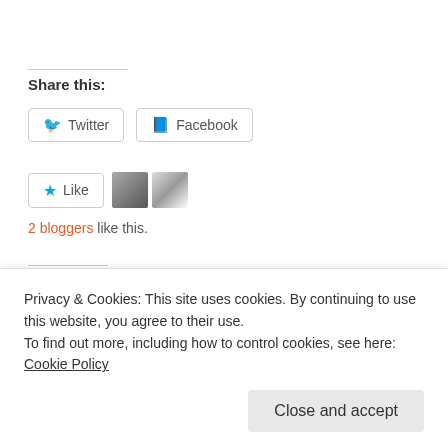Share this:
Twitter
Facebook
Like
2 bloggers like this.
Related
'A Daddy's Letter to His Little Girl (About Her Future...
~Guilt...broken heart~
January 10, 2016
Privacy & Cookies: This site uses cookies. By continuing to use this website, you agree to their use. To find out more, including how to control cookies, see here: Cookie Policy
Close and accept